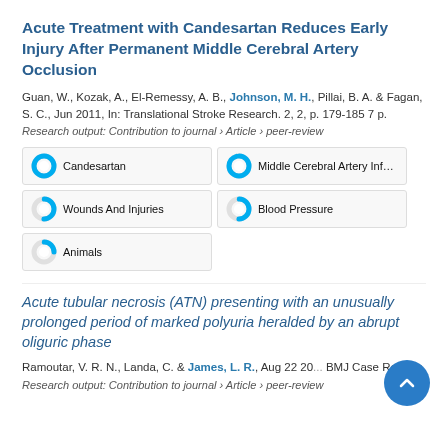Acute Treatment with Candesartan Reduces Early Injury After Permanent Middle Cerebral Artery Occlusion
Guan, W., Kozak, A., El-Remessy, A. B., Johnson, M. H., Pillai, B. A. & Fagan, S. C., Jun 2011, In: Translational Stroke Research. 2, 2, p. 179-185 7 p.
Research output: Contribution to journal › Article › peer-review
[Figure (infographic): Fingerprint keyword badges with donut-style percentage indicators: Candesartan (100%), Middle Cerebral Artery Infarctio (100%), Wounds And Injuries (~50%), Blood Pressure (~50%), Animals (~25%)]
Acute tubular necrosis (ATN) presenting with an unusually prolonged period of marked polyuria heralded by an abrupt oliguric phase
Ramoutar, V. R. N., Landa, C. & James, L. R., Aug 22 20[...] BMJ Case Reports.
Research output: Contribution to journal › Article › peer-review